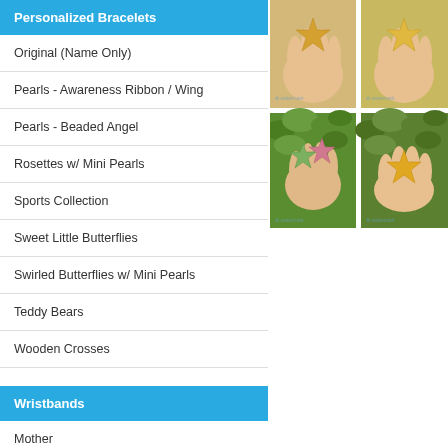Personalized Bracelets
Original (Name Only)
Pearls - Awareness Ribbon / Wing
Pearls - Beaded Angel
Rosettes w/ Mini Pearls
Sports Collection
Sweet Little Butterflies
Swirled Butterflies w/ Mini Pearls
Teddy Bears
Wooden Crosses
Wristbands
Mother
Daddy
Sister
[Figure (photo): Four photos arranged in a 2x2 grid showing hands holding star-shaped gemstones/crystals. Top row shows yellow/golden stars held in palms. Bottom row shows green unakite stars and yellow/honey calcite stars held in hands outdoors with green foliage background.]